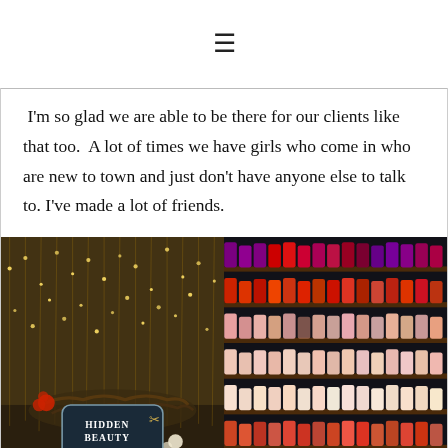≡
I'm so glad we are able to be there for our clients like that too.  A lot of times we have girls who come in who are new to town and just don't have anyone else to talk to. I've made a lot of friends.
[Figure (photo): Left photo: Hidden Beauty salon & spa sign with fairy lights and floral decoration on dark background. Right photo: Shelves of nail polish bottles in various colors arranged on dark wood shelves.]